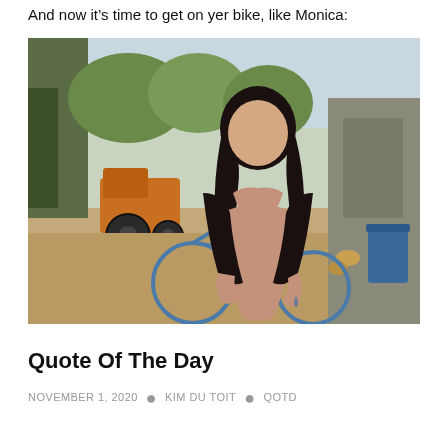And now it's time to get on yer bike, like Monica:
[Figure (photo): A dark-haired woman in a pink mini skirt and black jacket posing on a blue bicycle in an outdoor rural setting with a tractor visible in the background.]
Quote Of The Day
NOVEMBER 1, 2020 · KIM DU TOIT · QOTD